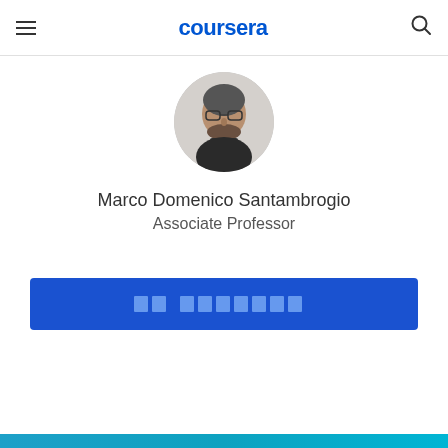coursera
[Figure (photo): Circular profile photo of Marco Domenico Santambrogio, a man with glasses and a beard, wearing a dark jacket, against a light background.]
Marco Domenico Santambrogio
Associate Professor
[Button with encoded/unreadable text - enrollment button]